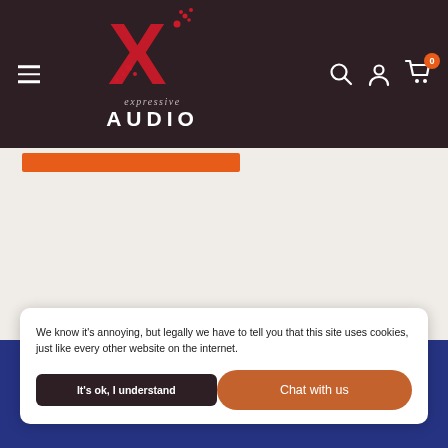Expressive Audio — navigation header with logo, hamburger menu, search, account, and cart icons
[Figure (logo): Expressive Audio logo: large red X with dot accents, italic 'expressive' text and bold 'AUDIO' text below]
Join Us
We know it's annoying, but legally we have to tell you that this site uses cookies, just like every other website on the internet.
It's ok, I understand
Chat with us